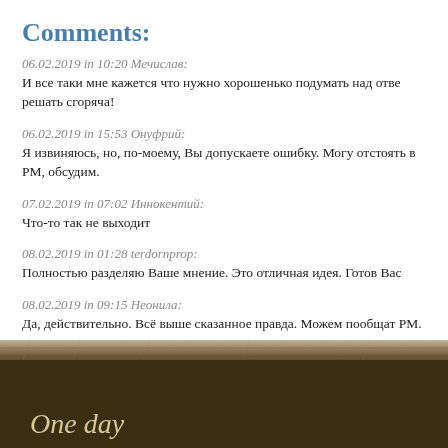Comments:
06.02.2019 in 10:20 Мечислав:
И все таки мне кажется что нужно хорошенько подумать над отве решать сгоряча!
06.02.2019 in 15:53 Онуфрий:
Я извиняюсь, но, по-моему, Вы допускаете ошибку. Могу отстоять в РМ, обсудим.
07.02.2019 in 07:02 Иннокентий:
Что-то так не выходит
08.02.2019 in 01:28 terdornprop:
Полностью разделяю Ваше мнение. Это отличная идея. Готов Вас
08.02.2019 in 09:15 Неонила:
Да, действительно. Всё выше сказанное правда. Можем пообщат РМ.
One day